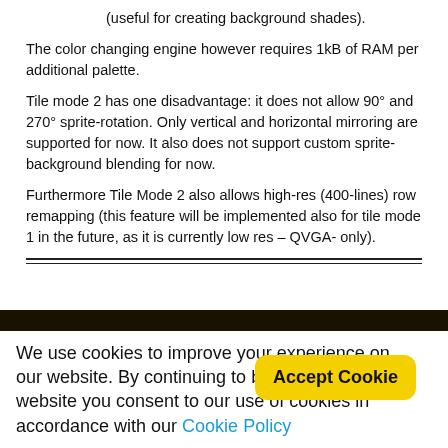(useful for creating background shades).
The color changing engine however requires 1kB of RAM per additional palette.
Tile mode 2 has one disadvantage: it does not allow 90° and 270° sprite-rotation. Only vertical and horizontal mirroring are supported for now. It also does not support custom sprite-background blending for now.
Furthermore Tile Mode 2 also allows high-res (400-lines) row remapping (this feature will be implemented also for tile mode 1 in the future, as it is currently low res – QVGA- only).
[Figure (screenshot): Dark horizontal bar indicating a website UI element (navigation bar or image).]
We use cookies to improve your experience on our website. By continuing to browse this website you consent to our use of cookies in accordance with our Cookie Policy